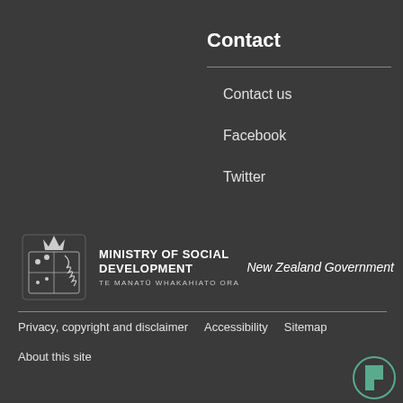Contact
Contact us
Facebook
Twitter
[Figure (logo): Ministry of Social Development logo with NZ Government text and Te Manatū Whakahiato Ora subtitle]
Privacy, copyright and disclaimer   Accessibility   Sitemap   About this site